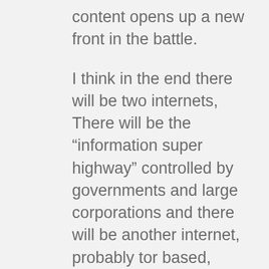content opens up a new front in the battle.
I think in the end there will be two internets, There will be the “information super highway” controlled by governments and large corporations and there will be another internet, probably tor based, where people can freely communicate with each other without surveillance or the threat of state force.
I hope I’m wrong but recent events seem to show that Google, Facebook, Twitter etc are not going